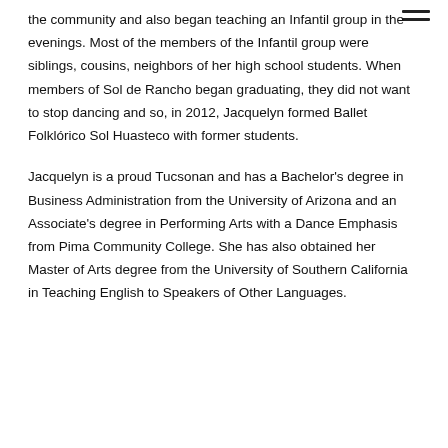the community and also began teaching an Infantil group in the evenings. Most of the members of the Infantil group were siblings, cousins, neighbors of her high school students. When members of Sol de Rancho began graduating, they did not want to stop dancing and so, in 2012, Jacquelyn formed Ballet Folklórico Sol Huasteco with former students.
Jacquelyn is a proud Tucsonan and has a Bachelor's degree in Business Administration from the University of Arizona and an Associate's degree in Performing Arts with a Dance Emphasis from Pima Community College. She has also obtained her Master of Arts degree from the University of Southern California in Teaching English to Speakers of Other Languages.